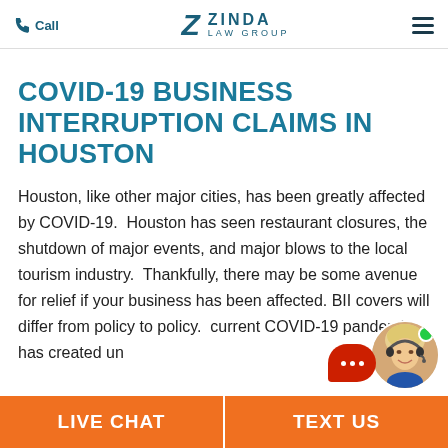Call | ZINDA LAW GROUP | (menu)
COVID-19 BUSINESS INTERRUPTION CLAIMS IN HOUSTON
Houston, like other major cities, has been greatly affected by COVID-19.  Houston has seen restaurant closures, the shutdown of major events, and major blows to the local tourism industry.  Thankfully, there may be some avenue for relief if your business has been affected. BII covers will differ from policy to policy. current COVID-19 pandemic has created un... current claims and it appears to BII. Therefore it
[Figure (illustration): Live chat agent widget: red speech bubble with three horizontal lines icon and a circular photo of a blonde female customer service agent with headset, with a green online indicator dot]
LIVE CHAT | TEXT US